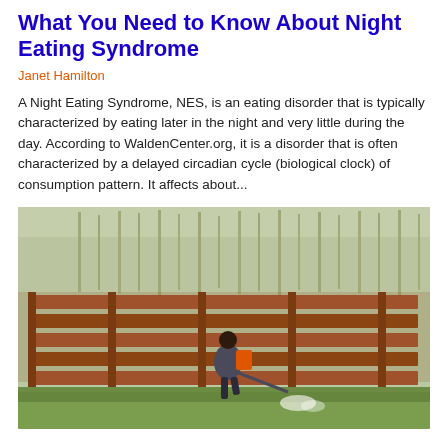What You Need to Know About Night Eating Syndrome
Janet Hamilton
A Night Eating Syndrome, NES, is an eating disorder that is typically characterized by eating later in the night and very little during the day. According to WaldenCenter.org, it is a disorder that is often characterized by a delayed circadian cycle (biological clock) of consumption pattern. It affects about...
[Figure (photo): A person wearing a backpack sprayer with an orange tank, spraying a field next to a wooden fence, with trees visible in the background.]